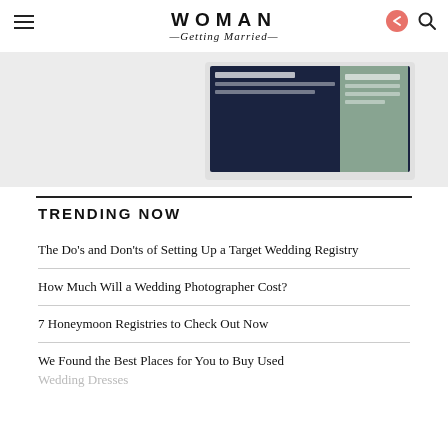WOMAN Getting Married
[Figure (screenshot): Screenshot of a laptop showing a wedding planning website or spreadsheet interface]
TRENDING NOW
The Do's and Don'ts of Setting Up a Target Wedding Registry
How Much Will a Wedding Photographer Cost?
7 Honeymoon Registries to Check Out Now
We Found the Best Places for You to Buy Used Wedding Dresses